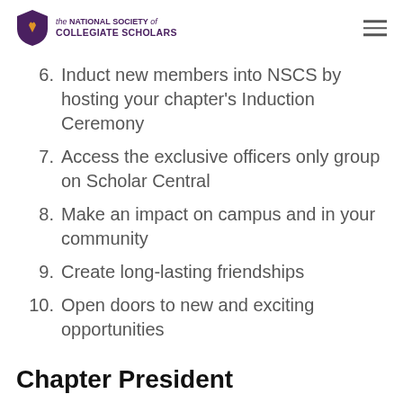the National Society of Collegiate Scholars
6. Induct new members into NSCS by hosting your chapter's Induction Ceremony
7. Access the exclusive officers only group on Scholar Central
8. Make an impact on campus and in your community
9. Create long-lasting friendships
10. Open doors to new and exciting opportunities
Chapter President